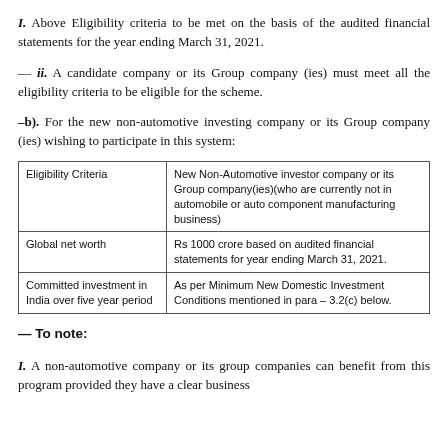I. Above Eligibility criteria to be met on the basis of the audited financial statements for the year ending March 31, 2021.
— ii. A candidate company or its Group company (ies) must meet all the eligibility criteria to be eligible for the scheme.
–b). For the new non-automotive investing company or its Group company (ies) wishing to participate in this system:
| Eligibility Criteria | New Non-Automotive investor company or its Group company(ies)(who are currently not in automobile or auto component manufacturing business) |
| --- | --- |
| Global net worth | Rs 1000 crore based on audited financial statements for year ending March 31, 2021. |
| Committed investment in India over five year period | As per Minimum New Domestic Investment Conditions mentioned in para – 3.2(c) below. |
— To note:
I. A non-automotive company or its group companies can benefit from this program provided they have a clear business